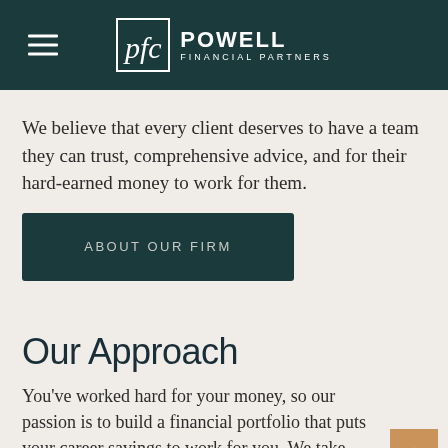Powell Financial Partners
We believe that every client deserves to have a team they can trust, comprehensive advice, and for their hard-earned money to work for them.
ABOUT OUR FIRM
Our Approach
You've worked hard for your money, so our passion is to build a financial portfolio that puts your career savings to work for you. We take an evolved approach to investing and